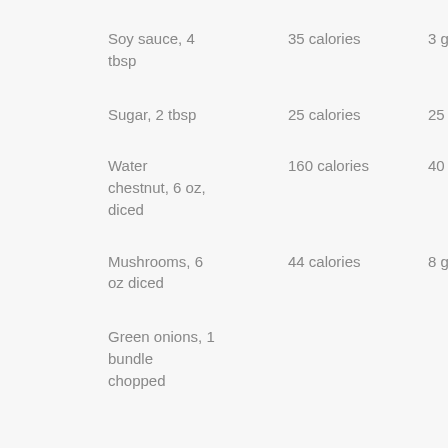| Ingredient | Calories | Amount |
| --- | --- | --- |
| Soy sauce, 4 tbsp | 35 calories | 3 g |
| Sugar, 2 tbsp | 25 calories | 25 g |
| Water chestnut, 6 oz, diced | 160 calories | 40 g |
| Mushrooms, 6 oz diced | 44 calories | 8 g |
| Green onions, 1 bundle chopped |  |  |